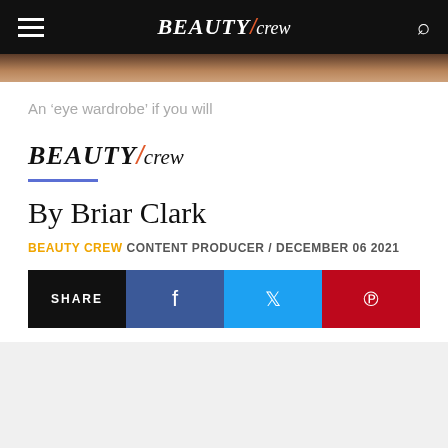BEAUTY/crew
[Figure (photo): Partial photo strip visible below navigation bar]
An ‘eye wardrobe’ if you will
[Figure (logo): BEAUTY/crew logo with orange slash]
By Briar Clark
BEAUTY CREW CONTENT PRODUCER / DECEMBER 06 2021
[Figure (infographic): Social share bar with SHARE, Facebook, Twitter, and Pinterest buttons]